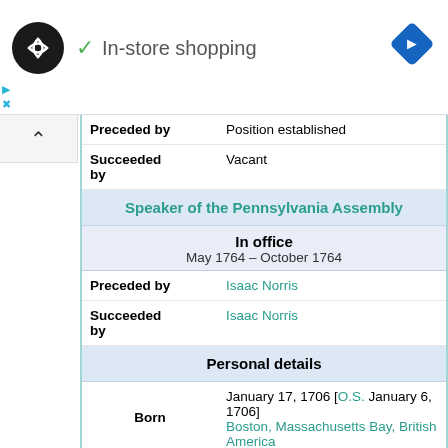[Figure (screenshot): Ad banner with circular logo and 'In-store shopping' text with checkmark, navigation arrow icon on right]
| Preceded by | Position established |
| Succeeded by | Vacant |
| Speaker of the Pennsylvania Assembly |  |
| In office | May 1764 – October 1764 |
| Preceded by | Isaac Norris |
| Succeeded by | Isaac Norris |
| Personal details |  |
| Born | January 17, 1706 [O.S. January 6, 1706]
Boston, Massachusetts Bay, British America |
| Died | April 17, 1790 (aged 84)
Philadelphia, Pennsylvania, U.S. |
| Political | Independent |